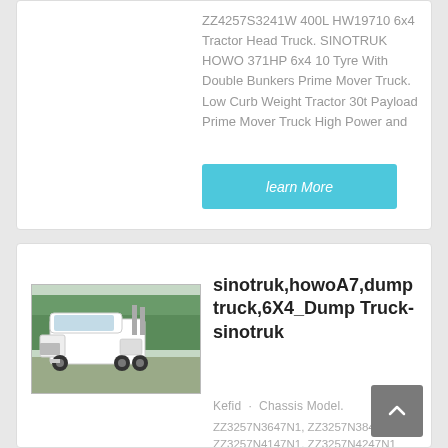ZZ4257S3241W 400L HW19710 6x4 Tractor Head Truck. SINOTRUK HOWO 371HP 6x4 10 Tyre With Double Bunkers Prime Mover Truck. Low Curb Weight Tractor 30t Payload Prime Mover Truck High Power and
learn More
[Figure (photo): White Sinotruk HOWO tractor truck cab parked outdoors with trees in background]
sinotruk,howoA7,dump truck,6X4_Dump Truck-sinotruk
Kefid · Chassis Model.
ZZ3257N3647N1, ZZ3257N3847N1, ZZ3257N4147N1, ZZ3257N4247N1